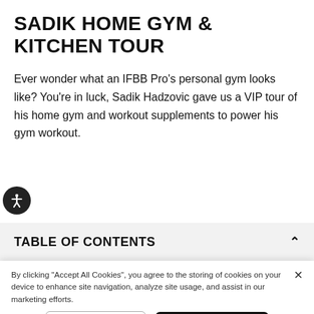SADIK HOME GYM & KITCHEN TOUR
Ever wonder what an IFBB Pro's personal gym looks like? You're in luck, Sadik Hadzovic gave us a VIP tour of his home gym and workout supplements to power his gym workout.
TABLE OF CONTENTS
By clicking "Accept All Cookies", you agree to the storing of cookies on your device to enhance site navigation, analyze site usage, and assist in our marketing efforts.
Cookies Settings   Accept All Cookies